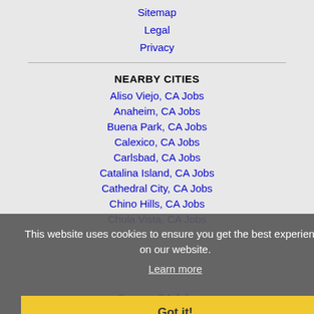Sitemap
Legal
Privacy
NEARBY CITIES
Aliso Viejo, CA Jobs
Anaheim, CA Jobs
Buena Park, CA Jobs
Calexico, CA Jobs
Carlsbad, CA Jobs
Catalina Island, CA Jobs
Cathedral City, CA Jobs
Chino Hills, CA Jobs
Chula Vista, CA Jobs
Coachella, CA Jobs
Colton, CA Jobs
Corona, CA Jobs
Costa Mesa, CA Jobs
This website uses cookies to ensure you get the best experience on our website.
Learn more
Got it!